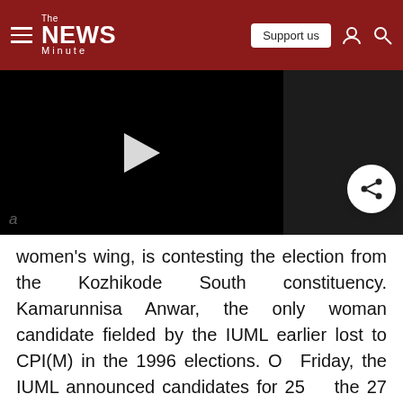The News Minute
[Figure (screenshot): Black video player with a white play button triangle in the center, partially visible on the left portion of the screen]
women's wing, is contesting the election from the Kozhikode South constituency. Kamarunnisa Anwar, the only woman candidate fielded by the IUML earlier lost to CPI(M) in the 1996 elections. On Friday, the IUML announced candidates for 25 of the 27 seats it is contesting from, as an ally of Congress in the United Democratic Front (UDF).